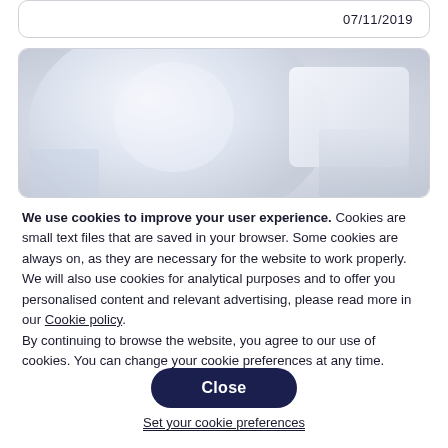07/11/2019
[Figure (photo): Photo of white porcelain or ceramic items (cups/bowls) in a soft, light blue-grey background, partially visible at top of page]
We use cookies to improve your user experience. Cookies are small text files that are saved in your browser. Some cookies are always on, as they are necessary for the website to work properly. We will also use cookies for analytical purposes and to offer you personalised content and relevant advertising, please read more in our Cookie policy.
By continuing to browse the website, you agree to our use of cookies. You can change your cookie preferences at any time.
Close
Set your cookie preferences